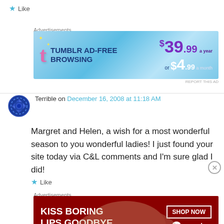★ Like
Advertisements
[Figure (screenshot): Tumblr Ad-Free Browsing advertisement banner. $39.99 a year or $4.99 a month.]
Terrible on December 16, 2008 at 11:18 AM
Margret and Helen, a wish for a most wonderful season to you wonderful ladies! I just found your site today via C&L comments and I'm sure glad I did!
★ Like
Advertisements
[Figure (screenshot): Macy's advertisement banner: KISS BORING LIPS GOODBYE. SHOP NOW. Macy's logo.]